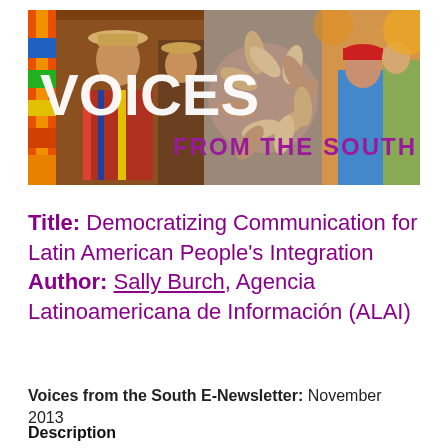[Figure (photo): Banner image showing the text 'VOICES FROM THE SOUTH' overlaid on collage of photos including a woman in traditional Andean dress with colorful flags, hands joined together in a circle, and children at a community event.]
Title: Democratizing Communication for Latin American People's Integration Author: Sally Burch, Agencia Latinoamericana de Información (ALAI)
Voices from the South E-Newsletter: November 2013
Description